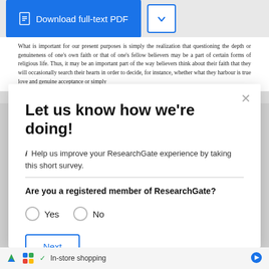[Figure (screenshot): Blue Download full-text PDF button with document icon, and a dropdown chevron button beside it]
What is important for our present purposes is simply the realization that questioning the depth or genuineness of one's own faith or that of one's fellow believers may be a part of certain forms of religious life. Thus, it may be an important part of the way believers think about their faith that they will occasionally search their hearts in order to decide, for instance, whether what they harbour is true love and genuine acceptance or simply
Let us know how we're doing!
i Help us improve your ResearchGate experience by taking this short survey.
Are you a registered member of ResearchGate?
Yes
No
Next